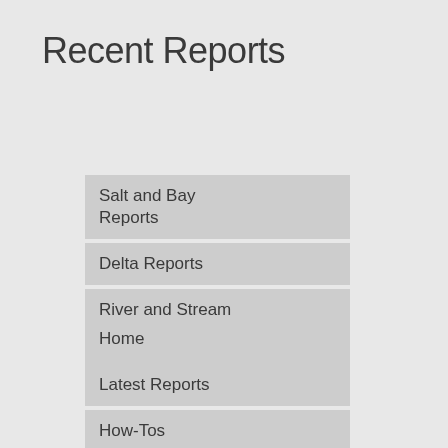Recent Reports
Salt and Bay Reports
Delta Reports
River and Stream Reports
Lake Reports
Home
Latest Reports
How-Tos
Subscribe
Videos
Our Staff
Contact Us